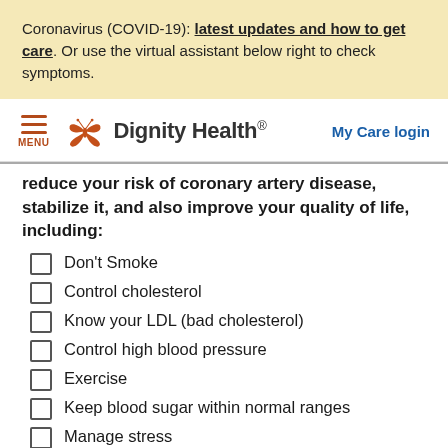Coronavirus (COVID-19): latest updates and how to get care. Or use the virtual assistant below right to check symptoms.
[Figure (logo): Dignity Health logo with butterfly symbol and 'My Care login' link]
reduce your risk of coronary artery disease, stabilize it, and also improve your quality of life, including:
Don't Smoke
Control cholesterol
Know your LDL (bad cholesterol)
Control high blood pressure
Exercise
Keep blood sugar within normal ranges
Manage stress